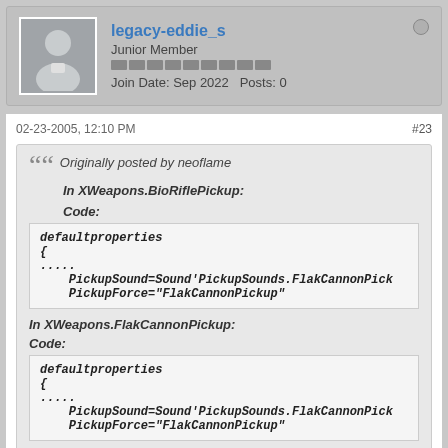legacy-eddie_s
Junior Member
Join Date: Sep 2022   Posts: 0
02-23-2005, 12:10 PM
#23
Originally posted by neoflame
In XWeapons.BioRiflePickup:
Code:
defaultproperties
{
.....
    PickupSound=Sound'PickupSounds.FlakCannonPick
    PickupForce="FlakCannonPickup"
In XWeapons.FlakCannonPickup:
Code:
defaultproperties
{
.....
    PickupSound=Sound'PickupSounds.FlakCannonPick
    PickupForce="FlakCannonPickup"